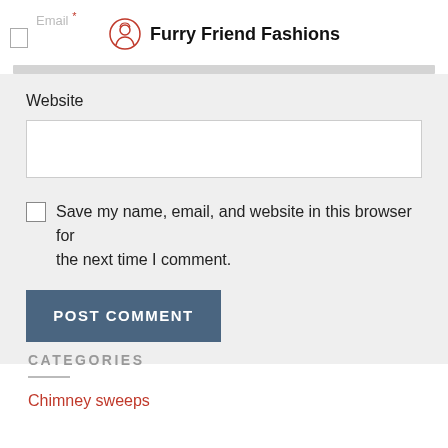Email * | Furry Friend Fashions
Website
Save my name, email, and website in this browser for the next time I comment.
POST COMMENT
CATEGORIES
Chimney sweeps